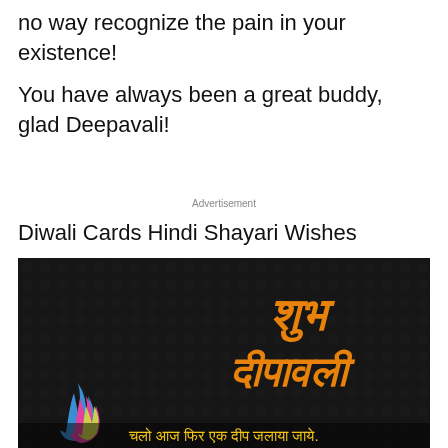no way recognize the pain in your existence!
You have always been a great buddy, glad Deepavali!
Advertisement
Diwali Cards Hindi Shayari Wishes
[Figure (photo): Dark textured card with orange Hindi text reading 'Shubh Deepawali' and a colorful flame icon at bottom left, with Hindi text at the bottom reading 'Chalo aaj phir ek deep jalaya jaye']